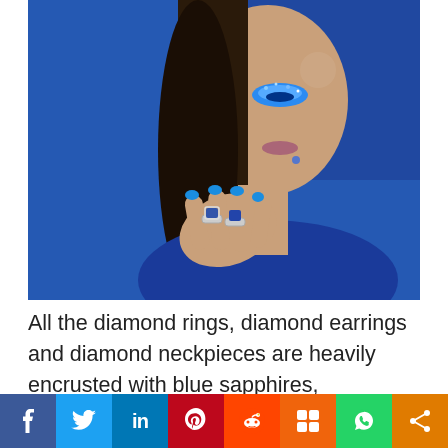[Figure (photo): Woman with blue glittery eye makeup, blue nails, wearing diamond rings and earrings set with blue sapphires against a blue background]
All the diamond rings, diamond earrings and diamond neckpieces are heavily encrusted with blue sapphires, tanzanites and diamonds.if you want to shun the traditional ones,some of the rings
f  t  in  p  reddit  m  WhatsApp  share